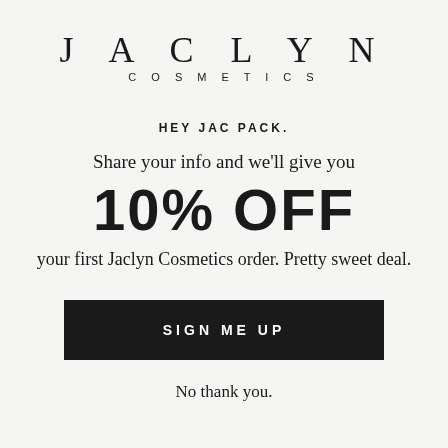JACLYN
COSMETICS
HEY JAC PACK.
Share your info and we'll give you
10% OFF
your first Jaclyn Cosmetics order. Pretty sweet deal.
SIGN ME UP
No thank you.